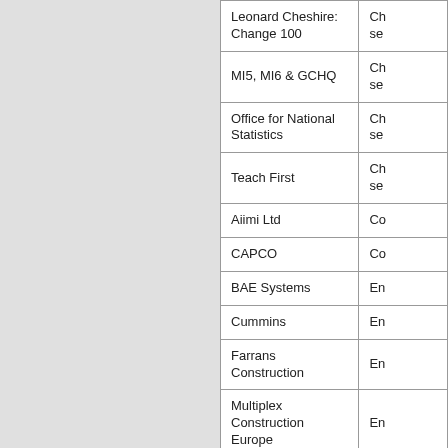| Organisation | Sector |
| --- | --- |
| Leonard Cheshire: Change 100 | Ch… se… |
| MI5, MI6 & GCHQ | Ch… se… |
| Office for National Statistics | Ch… se… |
| Teach First | Ch… se… |
| Aiimi Ltd | Co… |
| CAPCO | Co… |
| BAE Systems | En… |
| Cummins | En… |
| Farrans Construction | En… |
| Multiplex Construction Europe | En… |
| Pall Corporation | En… |
| South Staffordshire Infrastructure Services | En… |
| SSE | En… |
| Th… | En… |